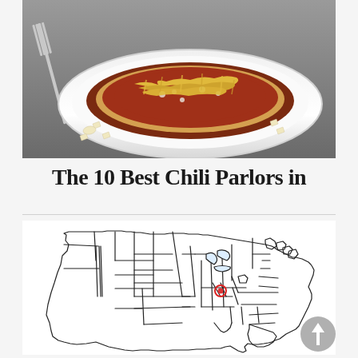[Figure (photo): Close-up photo of a Cincinnati-style chili dish on a white oval plate, topped with shredded yellow cheese and served with oyster crackers, with a fork visible on the left]
The 10 Best Chili Parlors in
[Figure (map): Outline map of the contiguous United States with a red circle marker indicating a location in Ohio/Kentucky (Cincinnati area)]